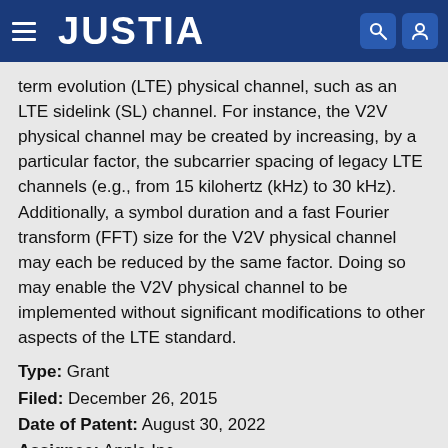JUSTIA
term evolution (LTE) physical channel, such as an LTE sidelink (SL) channel. For instance, the V2V physical channel may be created by increasing, by a particular factor, the subcarrier spacing of legacy LTE channels (e.g., from 15 kilohertz (kHz) to 30 kHz). Additionally, a symbol duration and a fast Fourier transform (FFT) size for the V2V physical channel may each be reduced by the same factor. Doing so may enable the V2V physical channel to be implemented without significant modifications to other aspects of the LTE standard.
Type: Grant
Filed: December 26, 2015
Date of Patent: August 30, 2022
Assignee: Apple Inc.
Inventors: Alexey Khoryaev, Andrey Chervyakov, Dmitry Belov, Mikhail Shilov